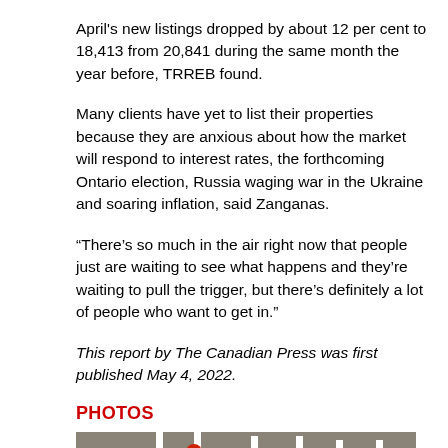April's new listings dropped by about 12 per cent to 18,413 from 20,841 during the same month the year before, TRREB found.
Many clients have yet to list their properties because they are anxious about how the market will respond to interest rates, the forthcoming Ontario election, Russia waging war in the Ukraine and soaring inflation, said Zanganas.
“There’s so much in the air right now that people just are waiting to see what happens and they’re waiting to pull the trigger, but there’s definitely a lot of people who want to get in.”
This report by The Canadian Press was first published May 4, 2022.
PHOTOS
[Figure (photo): Photo of real estate for sale signs, white signs with red dot, partially visible at bottom of page]